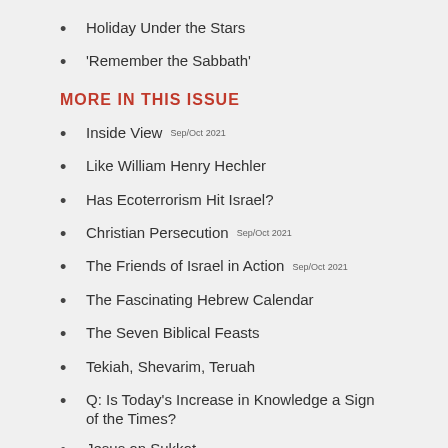Holiday Under the Stars
'Remember the Sabbath'
MORE IN THIS ISSUE
Inside View Sep/Oct 2021
Like William Henry Hechler
Has Ecoterrorism Hit Israel?
Christian Persecution Sep/Oct 2021
The Friends of Israel in Action Sep/Oct 2021
The Fascinating Hebrew Calendar
The Seven Biblical Feasts
Tekiah, Shevarim, Teruah
Q: Is Today's Increase in Knowledge a Sign of the Times?
Jesus on Sukkot
God's Alarm System
Perilous Times Predicted